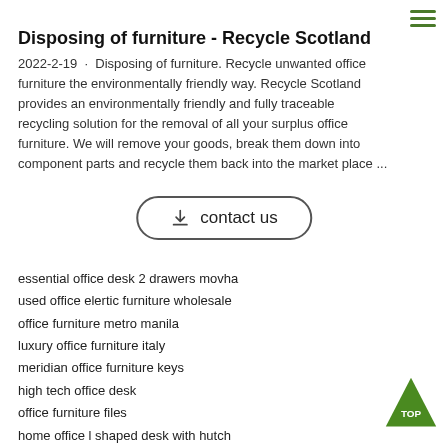[Figure (other): Hamburger menu icon (three green horizontal lines) in top right corner]
Disposing of furniture - Recycle Scotland
2022-2-19  ·  Disposing of furniture. Recycle unwanted office furniture the environmentally friendly way. Recycle Scotland provides an environmentally friendly and fully traceable recycling solution for the removal of all your surplus office furniture. We will remove your goods, break them down into component parts and recycle them back into the market place ...
[Figure (other): Contact us button with download icon]
essential office desk 2 drawers movha
used office elertic furniture wholesale
office furniture metro manila
luxury office furniture italy
meridian office furniture keys
high tech office desk
office furniture files
home office l shaped desk with hutch
office desk jobs near me
coopers office furniture 111 bathurst street toronto ontario m5v 2r1
peacemaker myra living angular office desk
how to connect forms to tables in open office
global furniture office task cahir
office furniture donations
[Figure (other): Green upward arrow triangle badge with text TOP]